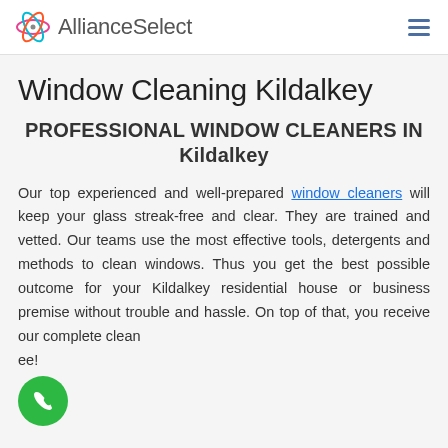AllianceSelect
Window Cleaning Kildalkey
PROFESSIONAL WINDOW CLEANERS IN Kildalkey
Our top experienced and well-prepared window cleaners will keep your glass streak-free and clear. They are trained and vetted. Our teams use the most effective tools, detergents and methods to clean windows. Thus you get the best possible outcome for your Kildalkey residential house or business premise without trouble and hassle. On top of that, you receive our complete clean ee!